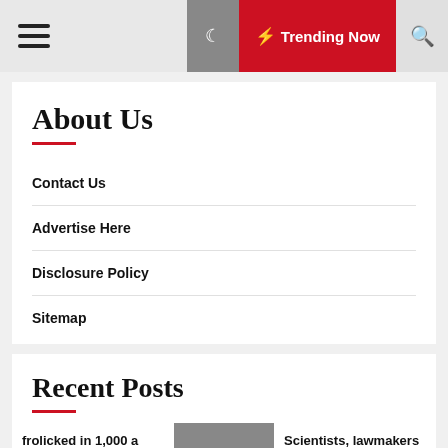Trending Now
About Us
Contact Us
Advertise Here
Disclosure Policy
Sitemap
Recent Posts
frolicked in 1,000 a long...
Scientists, lawmakers say N.H. company spewed much more 'forev...